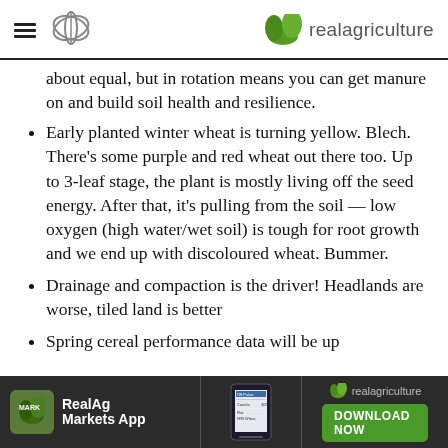realagriculture
about equal, but in rotation means you can get manure on and build soil health and resilience.
Early planted winter wheat is turning yellow. Blech. There’s some purple and red wheat out there too. Up to 3-leaf stage, the plant is mostly living off the seed energy. After that, it’s pulling from the soil — low oxygen (high water/wet soil) is tough for root growth and we end up with discoloured wheat. Bummer.
Drainage and compaction is the driver! Headlands are worse, tiled land is better
Spring cereal performance data will be up
[Figure (infographic): RealAg Markets App advertisement banner with dark background, app logo, phone screenshot, and download now button]